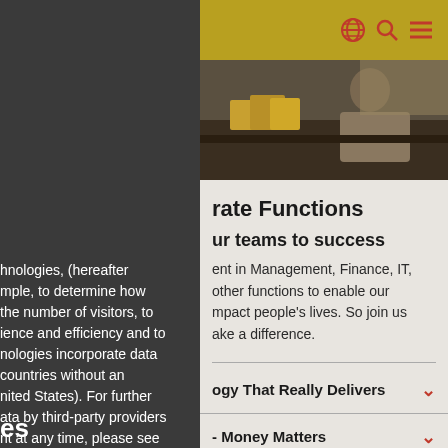hnologies, (hereafter mple, to determine how the number of visitors, to ience and efficiency and to nologies incorporate data countries without an nited States). For further ata by third-party providers nt at any time, please see s" and our
es
Globe icon, Search icon, Menu icon
[Figure (photo): Person working at a desk with books and laboratory/office equipment, dark toned photograph]
rate Functions
ur teams to success
ent in Management, Finance, IT, other functions to enable our mpact people's lives. So join us ake a difference.
ogy That Really Delivers
- Money Matters